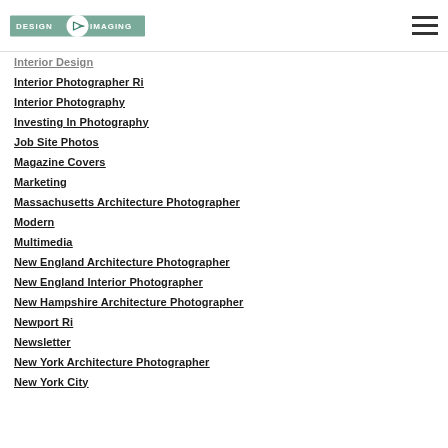Design Imaging logo and navigation hamburger menu
Interior Design
Interior Photographer Ri
Interior Photography
Investing In Photography
Job Site Photos
Magazine Covers
Marketing
Massachusetts Architecture Photographer
Modern
Multimedia
New England Architecture Photographer
New England Interior Photographer
New Hampshire Architecture Photographer
Newport Ri
Newsletter
New York Architecture Photographer
New York City